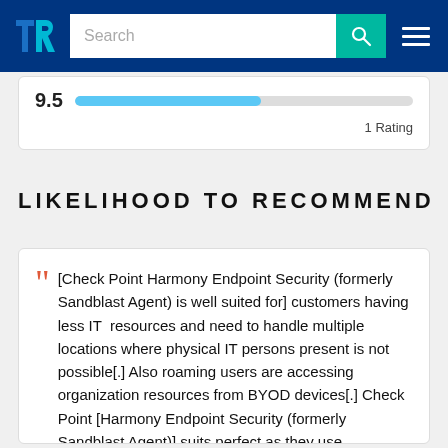[Figure (logo): TrustRadius logo — stylized TR letters in blue/teal on dark blue header background]
[Figure (screenshot): Search bar with placeholder text 'Search', teal search button with magnifying glass icon, and hamburger menu button on dark blue navigation header]
[Figure (bar-chart): Horizontal rating bar showing score 9.5 with a partially filled light blue bar on white card background, labeled '1 Rating']
1 Rating
LIKELIHOOD TO RECOMMEND
[Check Point Harmony Endpoint Security (formerly Sandblast Agent) is well suited for] customers having less IT resources and need to handle multiple locations where physical IT persons present is not possible[.] Also roaming users are accessing organization resources from BYOD devices[.] Check Point [Harmony Endpoint Security (formerly Sandblast Agent)] suits perfect as they use compliance ,encryption and all